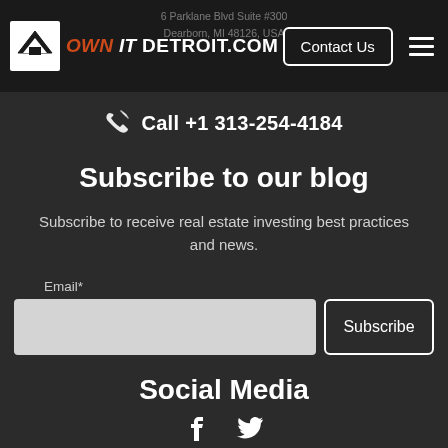6 Parklane Blvd Suite #300 Dearborn, MI 48126, USA
Call +1 313-254-4184
Subscribe to our blog
Subscribe to receive real estate investing best practices and news.
Email*
Social Media